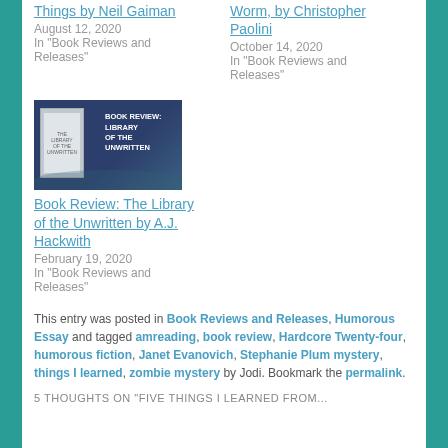Things by Neil Gaiman
August 12, 2020
In "Book Reviews and Releases"
Worm, by Christopher Paolini
October 14, 2020
In "Book Reviews and Releases"
[Figure (illustration): Book Review: Library of the Unwritten book cover image with text overlay]
Book Review: The Library of the Unwritten by A.J. Hackwith
February 19, 2020
In "Book Reviews and Releases"
This entry was posted in Book Reviews and Releases, Humorous Essay and tagged amreading, book review, Hardcore Twenty-four, humorous fiction, Janet Evanovich, Stephanie Plum mystery, things I learned, zombie mystery by Jodi. Bookmark the permalink.
5 THOUGHTS ON "FIVE THINGS I LEARNED FROM..."